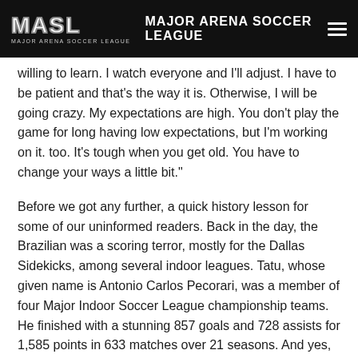MASL MAJOR ARENA SOCCER LEAGUE
willing to learn. I watch everyone and I'll adjust. I have to be patient and that's the way it is. Otherwise, I will be going crazy. My expectations are high. You don't play the game for long having low expectations, but I'm working on it. too. It's tough when you get old. You have to change your ways a little bit."
Before we got any further, a quick history lesson for some of our uninformed readers. Back in the day, the Brazilian was a scoring terror, mostly for the Dallas Sidekicks, among several indoor leagues. Tatu, whose given name is Antonio Carlos Pecorari, was a member of four Major Indoor Soccer League championship teams. He finished with a stunning 857 goals and 728 assists for 1,585 points in 633 matches over 21 seasons. And yes, he is a member of the Indoor Soccer Hall of Fame.